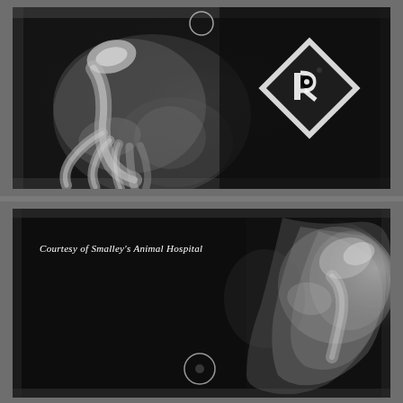[Figure (photo): Veterinary X-ray radiograph showing an animal limb/joint (paw or foot bones visible, semi-flexed), with a circular marker/indicator in the upper center and a square radiographic marker (lead marker with letter 'R' design) in the upper right on a dark background.]
[Figure (photo): Veterinary X-ray radiograph with text 'Courtesy of Smalley's Animal Hospital' overlaid in white italic. Shows animal body/limb structures on the right side, dark background on the left, with a circular marker/indicator at the bottom center.]